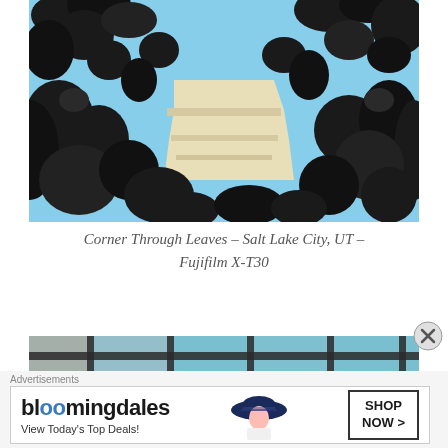[Figure (photo): Looking up through dark tree leaves at a cream/tan corner of a building against a blue sky. The silhouetted leaves form dark shapes against the bright sky.]
Corner Through Leaves – Salt Lake City, UT – Fujifilm X-T30
[Figure (photo): Looking through a metal grid/grate with decorative blue and stone tiles or panels visible behind it.]
Advertisements
[Figure (infographic): Bloomingdale's advertisement: logo text 'bloomingdales', tagline 'View Today's Top Deals!', image of woman in navy hat, and 'SHOP NOW >' button]